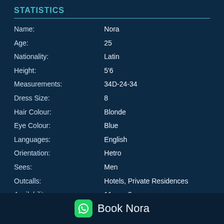STATISTICS
| Name: | Nora |
| Age: | 25 |
| Nationality: | Latin |
| Height: | 5'6 |
| Measurements: | 34D-24-34 |
| Dress Size: | 8 |
| Hair Colour: | Blonde |
| Eye Colour: | Blue |
| Languages: | English |
| Orientation: | Hetro |
| Sees: | Men |
| Outcalls: | Hotels, Private Residences |
| Availability: | 11am - 2am |
| Incall Location : | Knightsbridge |
Available for International Travel Bookings: Yes
Book Nora